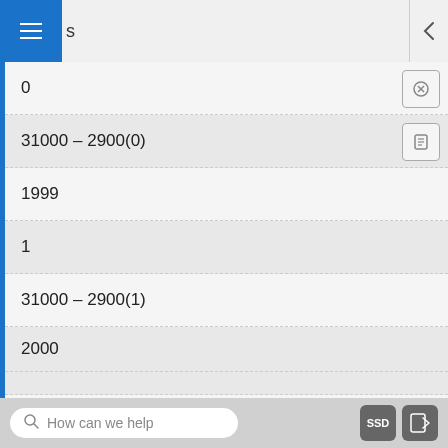s
0
31000 – 2900(0)
1999
1
31000 – 2900(1)
2000
2001
How can we help